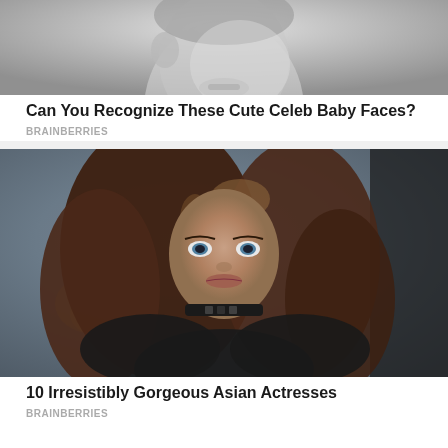[Figure (photo): Black and white close-up photo of a cute baby/toddler face, cropped showing partial face from nose up]
Can You Recognize These Cute Celeb Baby Faces?
BRAINBERRIES
[Figure (photo): Color photo of a beautiful Asian actress with long brown hair, wearing a black choker necklace, looking intensely at camera with blue/grey eyes, in a dark outfit]
10 Irresistibly Gorgeous Asian Actresses
BRAINBERRIES